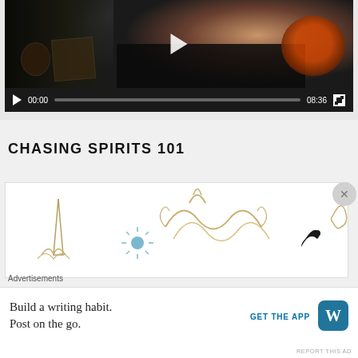[Figure (screenshot): Video player showing a person seated at a desk with shelves in background. Controls show play button, 00:00 timecode, progress bar, 08:36 duration, and fullscreen button.]
CHASING SPIRITS 101
[Figure (illustration): Decorative illustration with ornate scrollwork, a pointed hat/spire shape, a sunburst, and other decorative flourishes in gold, blue, and dark tones — partially visible advertisement graphic.]
Advertisements
Build a writing habit. Post on the go.
GET THE APP
REPORT THIS AD